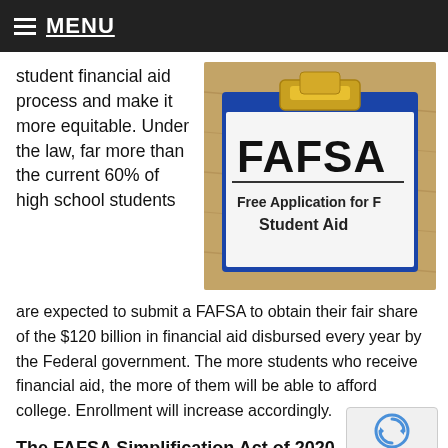MENU
student financial aid process and make it more equitable. Under the law, far more than the current 60% of high school students
[Figure (photo): Photo of a FAFSA (Free Application for Student Aid) form on a clipboard on a wooden surface]
are expected to submit a FAFSA to obtain their fair share of the $120 billion in financial aid disbursed every year by the Federal government. The more students who receive financial aid, the more of them will be able to afford college. Enrollment will increase accordingly.
The FAFSA Simplification Act of 2020